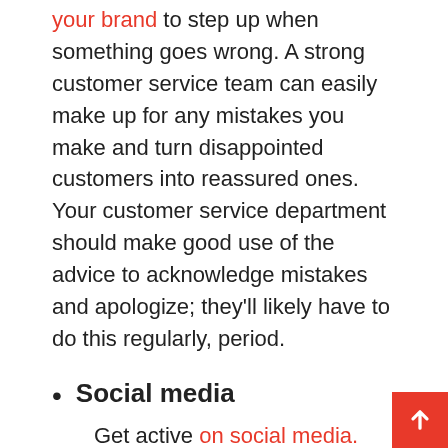your brand to step up when something goes wrong. A strong customer service team can easily make up for any mistakes you make and turn disappointed customers into reassured ones. Your customer service department should make good use of the advice to acknowledge mistakes and apologize; they'll likely have to do this regularly, period.
Social media
Get active on social media. This is potentially your biggest communication channel, and the one that's most publicly visible, so it needs to present your most